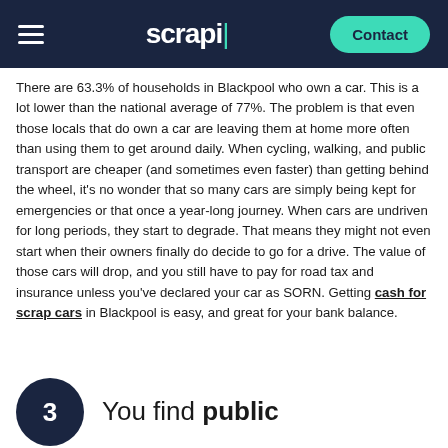scrapi | Contact
There are 63.3% of households in Blackpool who own a car. This is a lot lower than the national average of 77%. The problem is that even those locals that do own a car are leaving them at home more often than using them to get around daily. When cycling, walking, and public transport are cheaper (and sometimes even faster) than getting behind the wheel, it's no wonder that so many cars are simply being kept for emergencies or that once a year-long journey. When cars are undriven for long periods, they start to degrade. That means they might not even start when their owners finally do decide to go for a drive. The value of those cars will drop, and you still have to pay for road tax and insurance unless you've declared your car as SORN. Getting cash for scrap cars in Blackpool is easy, and great for your bank balance.
3 You find public